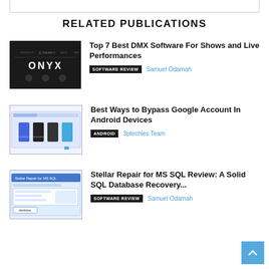RELATED PUBLICATIONS
[Figure (screenshot): ONYX DMX software dark interface screenshot]
Top 7 Best DMX Software For Shows and Live Performances
SOFTWARE REVIEW   Samuel Odamah
[Figure (screenshot): Android devices bypass Google account screenshot with phone images]
Best Ways to Bypass Google Account In Android Devices
ANDROID   3ptechies Team
[Figure (screenshot): Stellar Repair for MS SQL software interface screenshot]
Stellar Repair for MS SQL Review: A Solid SQL Database Recovery...
SOFTWARE REVIEW   Samuel Odamah